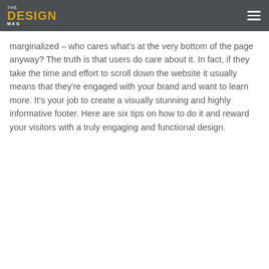THE DESIGN MAG
marginalized – who cares what's at the very bottom of the page anyway? The truth is that users do care about it. In fact, if they take the time and effort to scroll down the website it usually means that they're engaged with your brand and want to learn more. It's your job to create a visually stunning and highly informative footer. Here are six tips on how to do it and reward your visitors with a truly engaging and functional design.